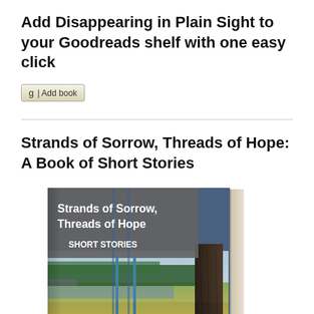Add Disappearing in Plain Sight to your Goodreads shelf with one easy click
[Figure (other): Goodreads 'Add book' button with 'g' logo and text 'Add book']
Strands of Sorrow, Threads of Hope: A Book of Short Stories
[Figure (photo): 3D book cover of 'Strands of Sorrow, Threads of Hope' SHORT STORIES, showing a landscape with trees, water, and a tree trunk on the right side. The cover has a gray header area with white bold text.]